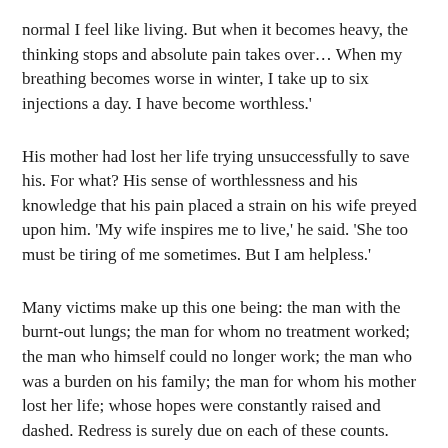normal I feel like living. But when it becomes heavy, the thinking stops and absolute pain takes over… When my breathing becomes worse in winter, I take up to six injections a day. I have become worthless.
His mother had lost her life trying unsuccessfully to save his. For what? His sense of worthlessness and his knowledge that his pain placed a strain on his wife preyed upon him. 'My wife inspires me to live,' he said. 'She too must be tiring of me sometimes. But I am helpless.'
Many victims make up this one being: the man with the burnt-out lungs; the man for whom no treatment worked; the man who himself could no longer work; the man who was a burden on his family; the man for whom his mother lost her life; whose hopes were constantly raised and dashed. Redress is surely due on each of these counts.